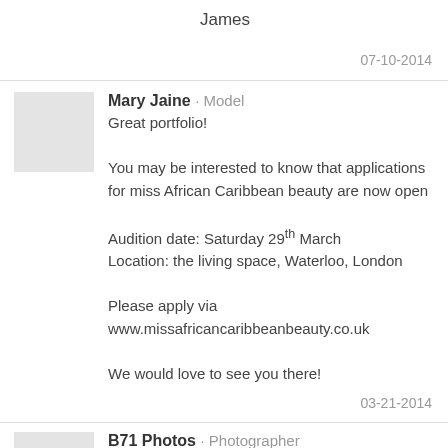James
07-10-2014
Mary Jaine · Model
Great portfolio!

You may be interested to know that applications for miss African Caribbean beauty are now open

Audition date: Saturday 29th March
Location: the living space, Waterloo, London

Please apply via www.missafricancaribbeanbeauty.co.uk

We would love to see you there!
03-21-2014
B71 Photos · Photographer
If you ever in NYC,
and want to shoot while you're here,
let me know.